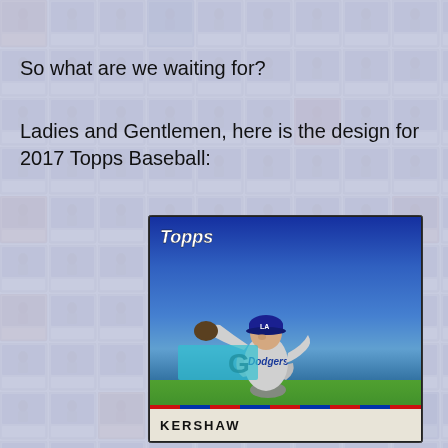So what are we waiting for?
Ladies and Gentlemen, here is the design for 2017 Topps Baseball:
[Figure (photo): A 2017 Topps Baseball card featuring a Los Angeles Dodgers pitcher (KERSHAW) mid-windup, wearing gray away uniform, blue cap, with a crowd in the background. The Topps logo appears in the upper left of the card. A red/blue stripe appears at the bottom of the card image, with the player name 'KERSHAW' in the white footer area.]